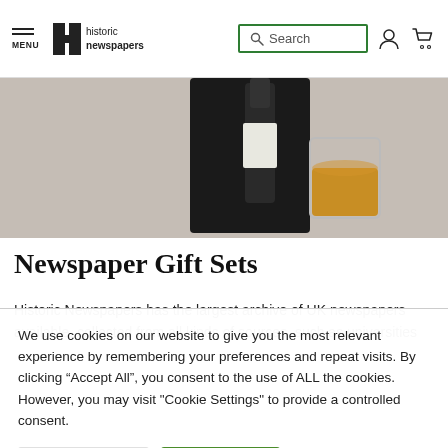historic newspapers — navigation bar with menu, logo, search, account, cart
[Figure (photo): Product photo showing a whisky bottle and glass with amber liquid on a dark background]
Newspaper Gift Sets
Historic Newspapers has the largest archive of UK newspapers available, collected from all kinds of sources, such as universities
We use cookies on our website to give you the most relevant experience by remembering your preferences and repeat visits. By clicking "Accept All", you consent to the use of ALL the cookies. However, you may visit "Cookie Settings" to provide a controlled consent.
Cookie Settings  |  Accept All